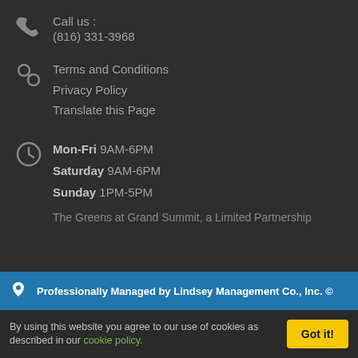Call us : (816) 331-3968
Terms and Conditions
Privacy Policy
Translate this Page
Mon-Fri 9AM-6PM
Saturday 9AM-6PM
Sunday 1PM-5PM
The Greens at Grand Summit, a Limited Partnership
Professionally Managed by Lindsey Management Co., Inc. ©
By using this website you agree to our use of cookies as described in our cookie policy.
Got it!